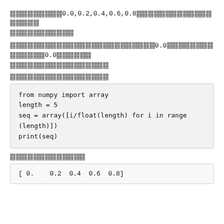[redacted] 0.0, 0.2, 0.4, 0.6, 0.8 [redacted]
[redacted]
[redacted] 0.0 [redacted] 0.0 [redacted]
[redacted]
[redacted section label]
from numpy import array
length = 5
seq = array([i/float(length) for i in range(length)])
print(seq)
[redacted section label]
[ 0.   0.2  0.4  0.6  0.8]